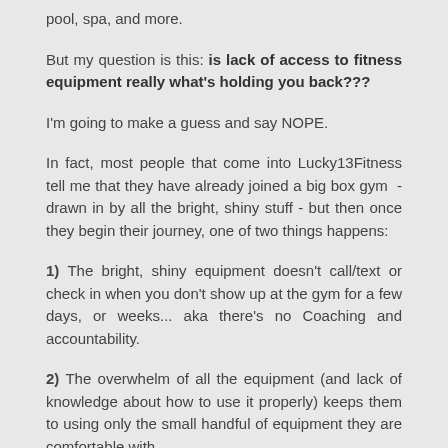pool, spa, and more.
But my question is this: is lack of access to fitness equipment really what's holding you back???
I'm going to make a guess and say NOPE.
In fact, most people that come into Lucky13Fitness tell me that they have already joined a big box gym  - drawn in by all the bright, shiny stuff - but then once they begin their journey, one of two things happens:
1) The bright, shiny equipment doesn't call/text or check in when you don't show up at the gym for a few days, or weeks... aka there's no Coaching and accountability.
2) The overwhelm of all the equipment (and lack of knowledge about how to use it properly) keeps them to using only the small handful of equipment they are comfortable with.